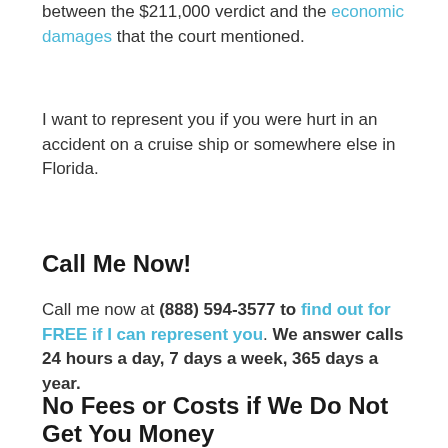between the $211,000 verdict and the economic damages that the court mentioned.
I want to represent you if you were hurt in an accident on a cruise ship or somewhere else in Florida.
Call Me Now!
Call me now at (888) 594-3577 to find out for FREE if I can represent you. We answer calls 24 hours a day, 7 days a week, 365 days a year.
No Fees or Costs if We Do Not Get You Money